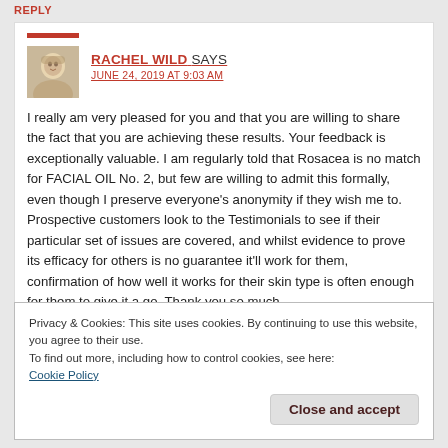REPLY
RACHEL WILD SAYS
JUNE 24, 2019 AT 9:03 AM
I really am very pleased for you and that you are willing to share the fact that you are achieving these results. Your feedback is exceptionally valuable. I am regularly told that Rosacea is no match for FACIAL OIL No. 2, but few are willing to admit this formally, even though I preserve everyone's anonymity if they wish me to. Prospective customers look to the Testimonials to see if their particular set of issues are covered, and whilst evidence to prove its efficacy for others is no guarantee it'll work for them, confirmation of how well it works for their skin type is often enough for them to give it a go. Thank you so much.
Privacy & Cookies: This site uses cookies. By continuing to use this website, you agree to their use.
To find out more, including how to control cookies, see here:
Cookie Policy
Close and accept